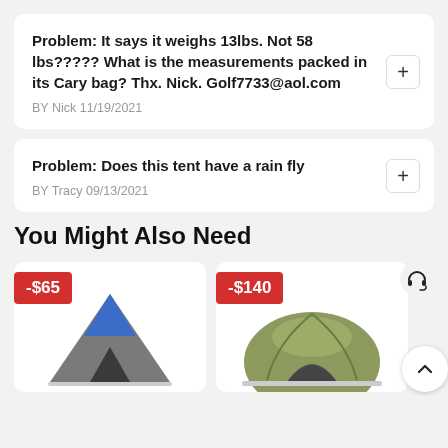Problem: It says it weighs 13lbs. Not 58 lbs????? What is the measurements packed in its Cary bag? Thx. Nick. Golf7733@aol.com
BY Nick 11/19/2021
Problem: Does this tent have a rain fly
BY Tracy 09/13/2021
You Might Also Need
[Figure (photo): Product card showing a tent with a blue peak, discounted by -$65]
[Figure (photo): Product card showing a dome tent, discounted by -$140]